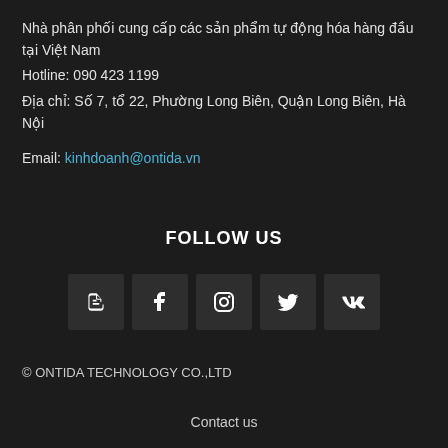Nhà phân phối cung cấp các sản phẩm tự động hóa hàng đầu tại Việt Nam
Hotline: 090 423 1199
Địa chỉ: Số 7, tổ 22, Phường Long Biên, Quận Long Biên, Hà Nội
Email: kinhdoanh@ontida.vn
FOLLOW US
[Figure (infographic): Row of 5 social media icon buttons: Blogger (B), Facebook (f), Instagram, Twitter, VK]
© ONTIDA TECHNOLOGY CO.,LTD
Contact us